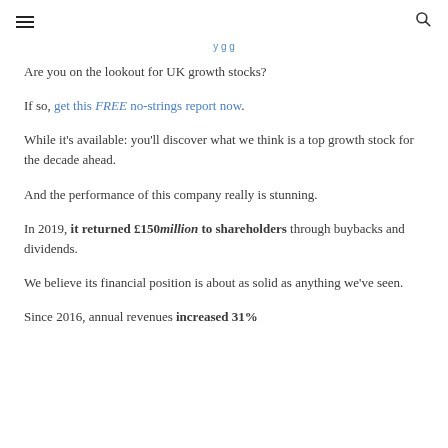[hamburger menu] [search icon]
[link bar text partially visible]
Are you on the lookout for UK growth stocks?
If so, get this FREE no-strings report now.
While it's available: you'll discover what we think is a top growth stock for the decade ahead.
And the performance of this company really is stunning.
In 2019, it returned £150million to shareholders through buybacks and dividends.
We believe its financial position is about as solid as anything we've seen.
Since 2016, annual revenues increased 31%